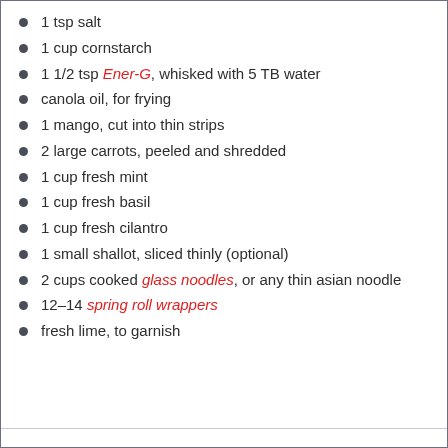1 tsp salt
1 cup cornstarch
1 1/2 tsp Ener-G, whisked with 5 TB water
canola oil, for frying
1 mango, cut into thin strips
2 large carrots, peeled and shredded
1 cup fresh mint
1 cup fresh basil
1 cup fresh cilantro
1 small shallot, sliced thinly (optional)
2 cups cooked glass noodles, or any thin asian noodle
12–14 spring roll wrappers
fresh lime, to garnish